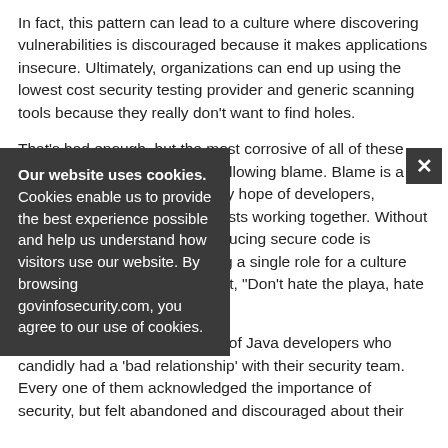In fact, this pattern can lead to a culture where discovering vulnerabilities is discouraged because it makes applications insecure. Ultimately, organizations can end up using the lowest cost security testing provider and generic scanning tools because they really don't want to find holes.
That's bad enough, but the most corrosive of all of these anti-patterns is the simplest - allowing blame. Blame is a culture problem. It destroys any hope of developers, architects and security specialists working together. Without that collaboration, reliably producing secure code is essentially impossible. Blaming a single role for a culture problem isn't fair. As Ice-T put it, "Don't hate the playa, hate the game."
Recently, I talked with a group of Java developers who candidly had a 'bad relationship' with their security team. Every one of them acknowledged the importance of security, but felt abandoned and discouraged about their
Our website uses cookies. Cookies enable us to provide the best experience possible and help us understand how visitors use our website. By browsing govinfosecurity.com, you agree to our use of cookies.